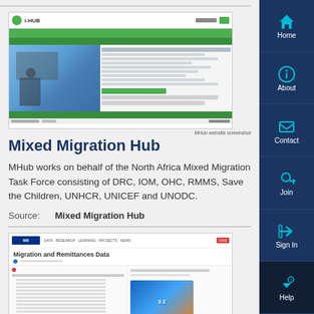[Figure (screenshot): Screenshot of the Mixed Migration Hub (MHub) website showing a map interface with green navigation bars and sidebar content]
MHub website screenshot
Mixed Migration Hub
MHub works on behalf of the North Africa Mixed Migration Task Force consisting of DRC, IOM, OHC, RMMS, Save the Children, UNHCR, UNICEF and UNODC.
Source:     Mixed Migration Hub
[Figure (screenshot): Screenshot of World Bank Migration and Remittances Data webpage showing data tables and a photo of people]